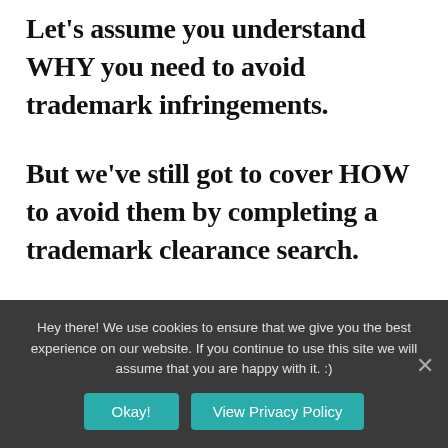Let's assume you understand WHY you need to avoid trademark infringements.
But we've still got to cover HOW to avoid them by completing a trademark clearance search.
The best part? A trademark clearance search can absolutely be a DIY operation.
So let's take a look at the three steps of completing your search without hiring a
Hey there! We use cookies to ensure that we give you the best experience on our website. If you continue to use this site we will assume that you are happy with it. :)